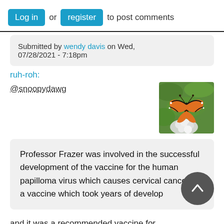Log in or register to post comments
Submitted by wendy davis on Wed, 07/28/2021 - 7:18pm
ruh-roh:
@snoopydawg
[Figure (photo): A monarch butterfly resting on white flowers with green foliage in the background]
Professor Frazer was involved in the successful development of the vaccine for the human papilloma virus which causes cervical cancer — a vaccine which took years of develop
and it was a recommended vaccine for